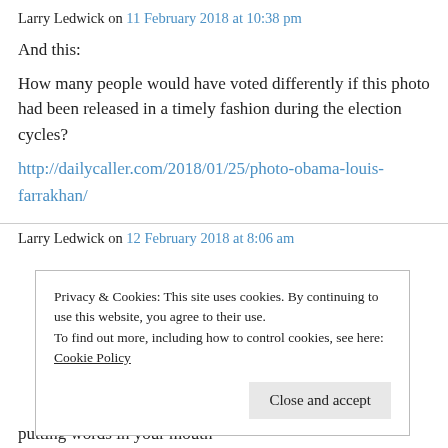Larry Ledwick on 11 February 2018 at 10:38 pm
And this:
How many people would have voted differently if this photo had been released in a timely fashion during the election cycles?
http://dailycaller.com/2018/01/25/photo-obama-louis-farrakhan/
Larry Ledwick on 12 February 2018 at 8:06 am
Privacy & Cookies: This site uses cookies. By continuing to use this website, you agree to their use.
To find out more, including how to control cookies, see here: Cookie Policy
Close and accept
putting words in your mouth